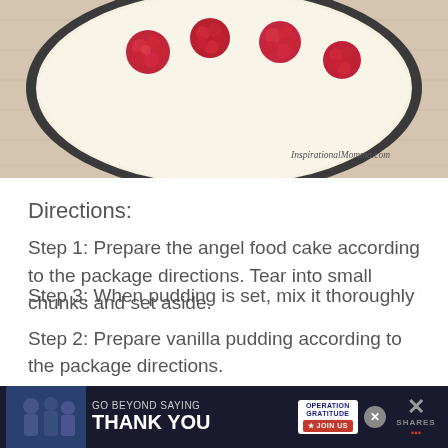[Figure (photo): Top-down photo of a dark bowl filled with white cream/pudding and red raspberries on top, placed on a light wooden surface. Watermark reads InspirationalMomma.com]
Directions:
Step 1: Prepare the angel food cake according to the package directions. Tear into small chunks and set aside.
Step 2: Prepare vanilla pudding according to the package directions.
Step 3: When pudding is set, mix it thoroughly with
[Figure (photo): Advertisement banner: GO BEYOND SAYING THANK YOU - Operation Gratitude JOIN US]